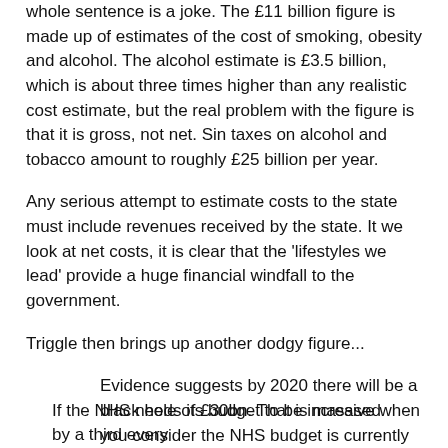whole sentence is a joke. The £11 billion figure is made up of estimates of the cost of smoking, obesity and alcohol. The alcohol estimate is £3.5 billion, which is about three times higher than any realistic cost estimate, but the real problem with the figure is that it is gross, not net. Sin taxes on alcohol and tobacco amount to roughly £25 billion per year.
Any serious attempt to estimate costs to the state must include revenues received by the state. It we look at net costs, it is clear that the 'lifestyles we lead' provide a huge financial windfall to the government.
Triggle then brings up another dodgy figure...
Evidence suggests by 2020 there will be a black hole of £30bn. That is massive when you consider the NHS budget is currently just over £100bn... this is where, [the government] hopes, tackling unhealthy lifestyles come in.
If the NHS needs its budget to be increased by a third every